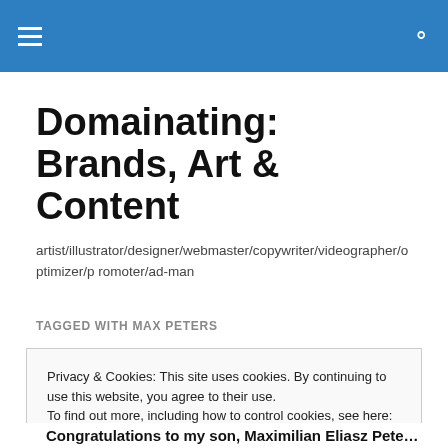[hamburger menu icon] [search icon]
Domainating: Brands, Art & Content
artist/illustrator/designer/webmaster/copywriter/videographer/optimizer/promoter/ad-man
TAGGED WITH MAX PETERS
Privacy & Cookies: This site uses cookies. By continuing to use this website, you agree to their use.
To find out more, including how to control cookies, see here: Cookie Policy
[Close and accept]
Congratulations to my son, Maximilian Eliasz Peters, who